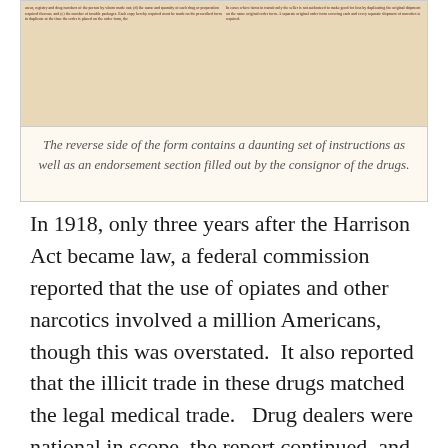[Figure (photo): Scanned image of the reverse side of a historical narcotics order form, showing dense printed text in two columns with red/dark reddish ink on aged paper.]
The reverse side of the form contains a daunting set of instructions as well as an endorsement section filled out by the consignor of the drugs.
In 1918, only three years after the Harrison Act became law, a federal commission reported that the use of opiates and other narcotics involved a million Americans, though this was overstated.  It also reported that the illicit trade in these drugs matched the legal medical trade.   Drug dealers were national in scope, the report continued, and the flourishing of the black market was particularly acute in cities like New York and San Francisco, though Los Angeles certainly had its share of dealers and users in the underground market.
As calls for tightening the law and increasing enforcement of the act led to action, it was assumed